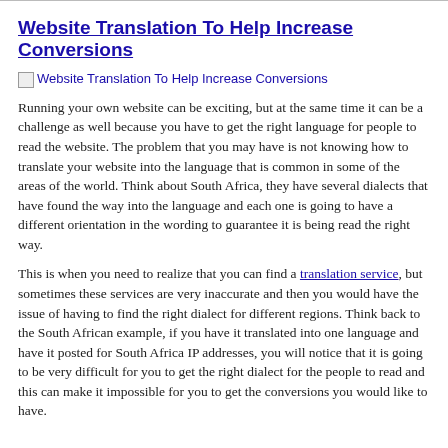Website Translation To Help Increase Conversions
[Figure (illustration): Broken image placeholder with alt text: Website Translation To Help Increase Conversions]
Running your own website can be exciting, but at the same time it can be a challenge as well because you have to get the right language for people to read the website. The problem that you may have is not knowing how to translate your website into the language that is common in some of the areas of the world. Think about South Africa, they have several dialects that have found the way into the language and each one is going to have a different orientation in the wording to guarantee it is being read the right way.
This is when you need to realize that you can find a translation service, but sometimes these services are very inaccurate and then you would have the issue of having to find the right dialect for different regions. Think back to the South African example, if you have it translated into one language and have it posted for South Africa IP addresses, you will notice that it is going to be very difficult for you to get the right dialect for the people to read and this can make it impossible for you to get the conversions you would like to have.